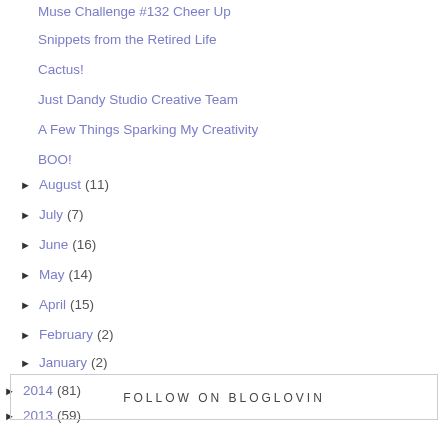Muse Challenge #132 Cheer Up
Snippets from the Retired Life
Cactus!
Just Dandy Studio Creative Team
A Few Things Sparking My Creativity
BOO!
► August (11)
► July (7)
► June (16)
► May (14)
► April (15)
► February (2)
► January (2)
► 2014 (81)
► 2013 (59)
FOLLOW ON BLOGLOVIN